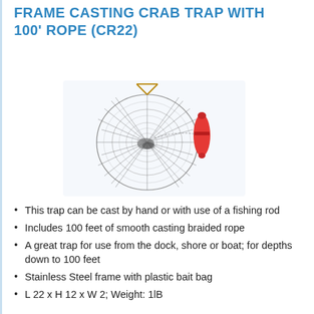FRAME CASTING CRAB TRAP WITH 100' ROPE (CR22)
[Figure (photo): Product image of a frame casting crab trap showing a circular wire mesh net trap with a red float/buoy marker attached]
This trap can be cast by hand or with use of a fishing rod
Includes 100 feet of smooth casting braided rope
A great trap for use from the dock, shore or boat; for depths down to 100 feet
Stainless Steel frame with plastic bait bag
L 22 x H 12 x W 2; Weight: 1lB